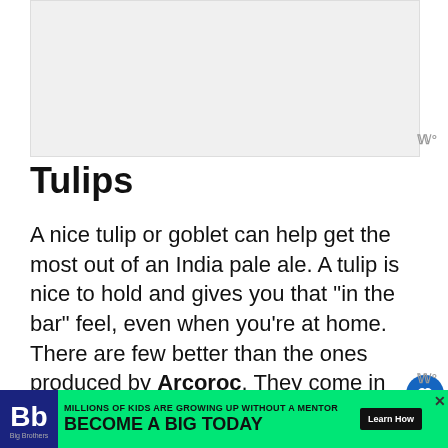[Figure (photo): Gray placeholder area for an image at the top of the page]
Tulips
A nice tulip or goblet can help get the most out of an India pale ale. A tulip is nice to hold and gives you that “in the bar” feel, even when you’re at home. There are few better than the ones produced by Arcoroc. They come in packs of up to 24, so they are great
[Figure (other): Green advertisement banner: Big Brothers Big Sisters logo, text MILLIONS OF KIDS ARE GROWING UP WITHOUT A MENTOR BECOME A BIG TODAY, with Learn How button]